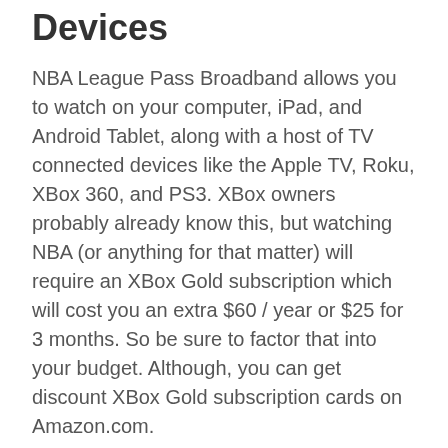Devices
NBA League Pass Broadband allows you to watch on your computer, iPad, and Android Tablet, along with a host of TV connected devices like the Apple TV, Roku, XBox 360, and PS3. XBox owners probably already know this, but watching NBA (or anything for that matter) will require an XBox Gold subscription which will cost you an extra $60 / year or $25 for 3 months. So be sure to factor that into your budget. Although, you can get discount XBox Gold subscription cards on Amazon.com.
Free Preview
In past season, NBA League Pass Broadband has been available for a short period at the beginning